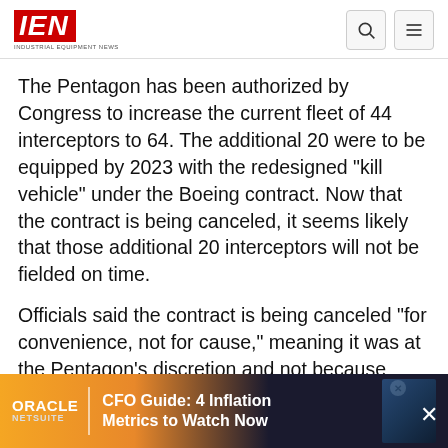IEN INDUSTRIAL EQUIPMENT NEWS
The Pentagon has been authorized by Congress to increase the current fleet of 44 interceptors to 64. The additional 20 were to be equipped by 2023 with the redesigned "kill vehicle" under the Boeing contract. Now that the contract is being canceled, it seems likely that those additional 20 interceptors will not be fielded on time.
Officials said the contract is being canceled "for convenience, not for cause," meaning it was at the Pentagon's discretion and not because Boeing was unable to fulfill the contract. "We will take lessons learned from the terminated program and apply them d...d.
[Figure (other): Oracle NetSuite advertisement banner: CFO Guide: 4 Inflation Metrics to Watch Now]